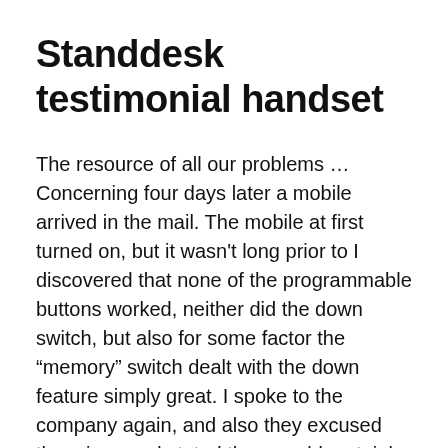Standdesk testimonial handset
The resource of all our problems … Concerning four days later a mobile arrived in the mail. The mobile at first turned on, but it wasn't long prior to I discovered that none of the programmable buttons worked, neither did the down switch, but also for some factor the “memory” switch dealt with the down feature simply great. I spoke to the company again, and also they excused the mixup and stated they would certainly have a new panel as well as control box out to me within the week.
Over two weeks later my new panel and also…